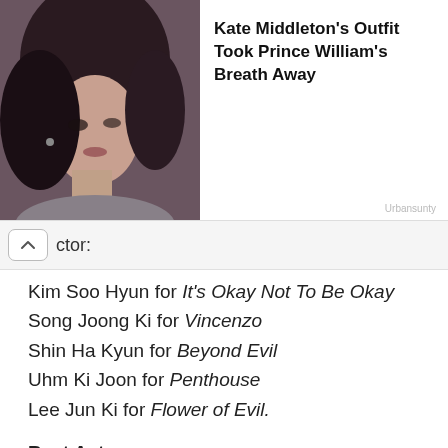[Figure (photo): Photo of Kate Middleton with advertisement headline: Kate Middleton's Outfit Took Prince William's Breath Away. Source: Urbansunty]
ctor:
Kim Soo Hyun for It's Okay Not To Be Okay
Song Joong Ki for Vincenzo
Shin Ha Kyun for Beyond Evil
Uhm Ki Joon for Penthouse
Lee Jun Ki for Flower of Evil.
Best Actress: